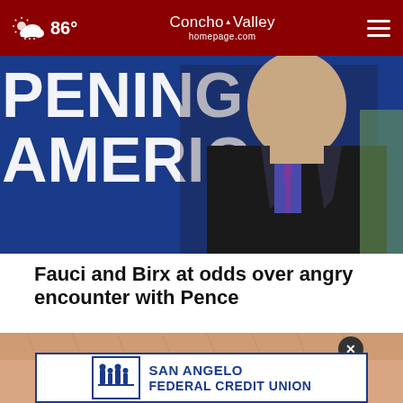86° Concho Valley homepage.com
[Figure (photo): Man in dark suit standing in front of blue banner reading 'OPENING AMERICA' at a press briefing]
Fauci and Birx at odds over angry encounter with Pence
[Figure (photo): Close-up texture photograph, partially obscured by San Angelo Federal Credit Union advertisement overlay]